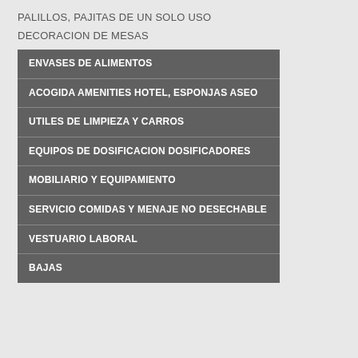PALILLOS, PAJITAS DE UN SOLO USO
DECORACION DE MESAS
ENVASES DE ALIMENTOS
ACOGIDA AMENITIES HOTEL, ESPONJAS ASEO
UTILES DE LIMPIEZA Y CARROS
EQUIPOS DE DOSIFICACION DOSIFICADORES
MOBILIARIO Y EQUIPAMIENTO
SERVICIO COMIDAS Y MENAJE NO DESECHABLE
VESTUARIO LABORAL
BAJAS